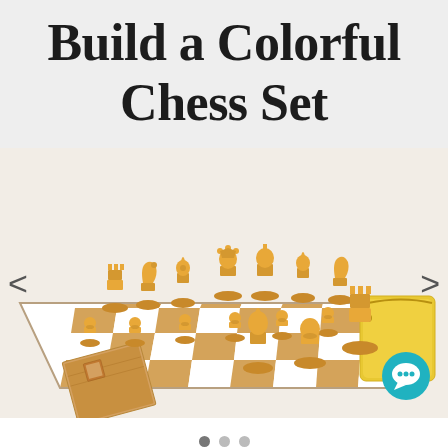Build a Colorful Chess Set
[Figure (photo): A colorful chess set with golden/yellow chess pieces arranged on a white and tan checkered vinyl board. A small booklet and a yellow carrying bag are visible in the background. Navigation arrows (< and >) appear on the left and right sides of the image. A teal chat bubble icon is shown in the bottom-right corner.]